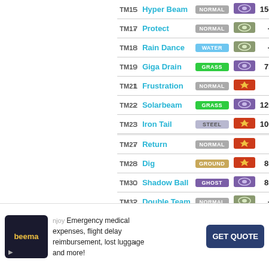| TM | Name | Type | Category | Power |
| --- | --- | --- | --- | --- |
| TM15 | Hyper Beam | NORMAL | Special | 150 |
| TM17 | Protect | NORMAL | Status | -- |
| TM18 | Rain Dance | WATER | Status | -- |
| TM19 | Giga Drain | GRASS | Special | 75 |
| TM21 | Frustration | NORMAL | Physical | 1 |
| TM22 | Solarbeam | GRASS | Special | 120 |
| TM23 | Iron Tail | STEEL | Physical | 100 |
| TM27 | Return | NORMAL | Physical | 1 |
| TM28 | Dig | GROUND | Physical | 80 |
| TM30 | Shadow Ball | GHOST | Special | 80 |
| TM32 | Double Team | NORMAL | Status | -- |
| TM40 | Aerial Ace | FLYING | Physical | 60 |
| TM42 | Facade | NORMAL | Physical | 70 |
[Figure (infographic): Advertisement banner for Beema insurance: Emergency medical expenses, flight delay reimbursement, lost luggage and more! GET QUOTE button.]